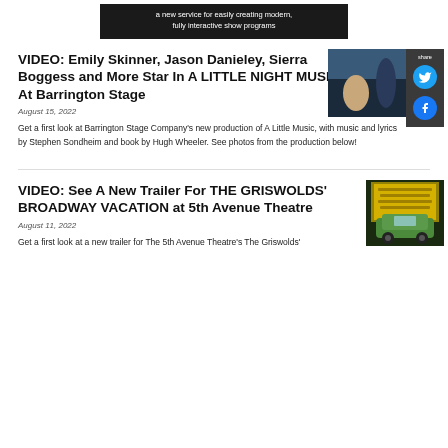[Figure (infographic): Dark banner with text: a new service for easily creating modern, fully interactive show programs]
VIDEO: Emily Skinner, Jason Danieley, Sierra Boggess and More Star In A LITTLE NIGHT MUSIC At Barrington Stage
August 15, 2022
[Figure (photo): Theater production photo showing performers on stage with blue lighting]
Get a first look at Barrington Stage Company's new production of A Little Music, with music and lyrics by Stephen Sondheim and book by Hugh Wheeler. See photos from the production below!
VIDEO: See A New Trailer For THE GRISWOLDS' BROADWAY VACATION at 5th Avenue Theatre
August 11, 2022
[Figure (photo): Photo showing a green car in front of a Las Vegas-style sign]
Get a first look at a new trailer for The 5th Avenue Theatre's The Griswolds'